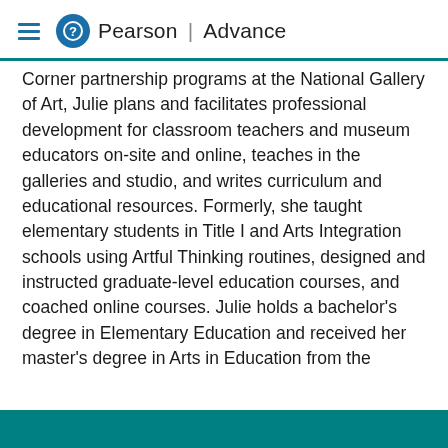Pearson | Advance
Corner partnership programs at the National Gallery of Art, Julie plans and facilitates professional development for classroom teachers and museum educators on-site and online, teaches in the galleries and studio, and writes curriculum and educational resources. Formerly, she taught elementary students in Title I and Arts Integration schools using Artful Thinking routines, designed and instructed graduate-level education courses, and coached online courses. Julie holds a bachelor's degree in Elementary Education and received her master's degree in Arts in Education from the